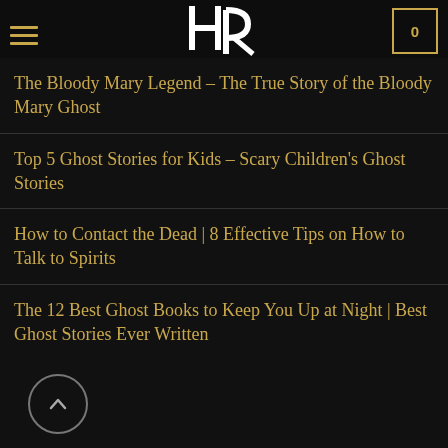HR logo and navigation header
Up at Night
The Bloody Mary Legend – The True Story of the Bloody Mary Ghost
Top 5 Ghost Stories for Kids – Scary Children's Ghost Stories
How to Contact the Dead | 8 Effective Tips on How to Talk to Spirits
The 12 Best Ghost Books to Keep You Up at Night | Best Ghost Stories Ever Written